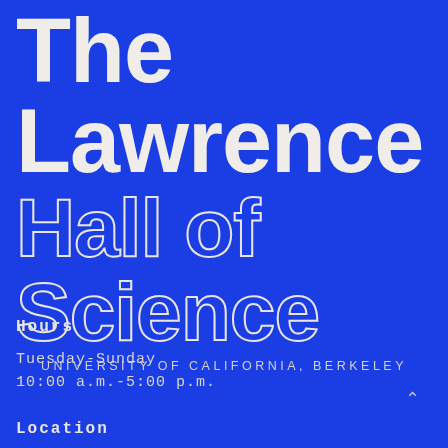The Lawrence Hall of Science
UNIVERSITY OF CALIFORNIA, BERKELEY
Hours
Tuesday-Sunday
10:00 a.m.-5:00 p.m.
Location